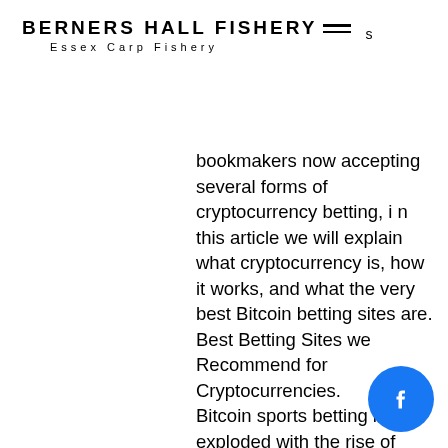BERNERS HALL FISHERY — s
Essex Carp Fishery
bookmakers now accepting several forms of cryptocurrency betting, i n this article we will explain what cryptocurrency is, how it works, and what the very best Bitcoin betting sites are. Best Betting Sites we Recommend for Cryptocurrencies.
Bitcoin sports betting has exploded with the rise of cryptocurrencies, bitstarz para yatırma bonusu yok codes 2022.
Let's find out how Cloudbet has evolved since it's launch and its focus for 2020. With thousands of table games, virtual games, and slots titles to choose from, players are sure to find a classic and immersive casino experience at Cloudbet. Cloudbet has over 1,000 slots games, over 100 classic ca games including roulette, baccarat, blackjack, dice, and craps. Their range of
[Figure (logo): Facebook circular button icon, blue background with white F logo]